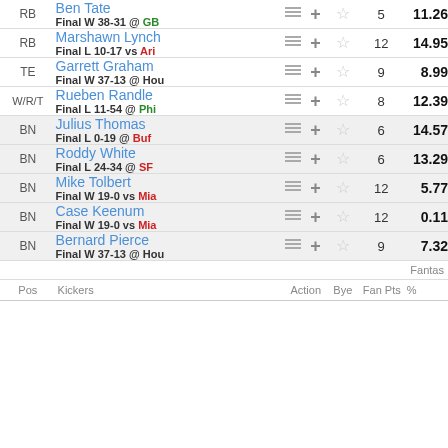| Pos | Player | Action | Bye | Fan Pts |
| --- | --- | --- | --- | --- |
| RB | Ben Tate / Final W 38-31 @ GB | +☆ | 5 | 11.26 |
| RB | Marshawn Lynch / Final L 10-17 vs Ari | +☆ | 12 | 14.95 |
| TE | Garrett Graham / Final W 37-13 @ Hou | +☆ | 9 | 8.99 |
| W/R/T | Rueben Randle / Final L 11-54 @ Phi | +☆ | 8 | 12.39 |
| BN | Julius Thomas / Final L 0-19 @ Buf | +☆ | 6 | 14.57 |
| BN | Roddy White / Final L 24-34 @ SF | +☆ | 6 | 13.29 |
| BN | Mike Tolbert / Final W 19-0 vs Mia | +☆ | 12 | 5.77 |
| BN | Case Keenum / Final W 19-0 vs Mia | +☆ | 12 | 0.11 |
| BN | Bernard Pierce / Final W 37-13 @ Hou | +☆ | 9 | 7.32 |
| Pos | Kickers | Action | Bye | Fan Pts | % |
| --- | --- | --- | --- | --- | --- |